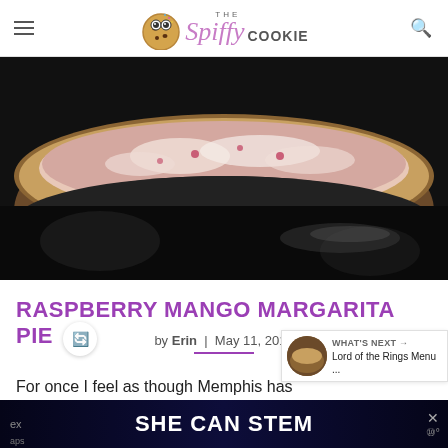THE Spiffy COOKIE
[Figure (photo): Close-up photo of a pie with pink/white creamy filling and graham cracker crust on a dark background]
RASPBERRY MANGO MARGARITA PIE
by Erin | May 11, 2011
WHAT'S NEXT → Lord of the Rings Menu ...
For once I feel as though Memphis has
SHE CAN STEM